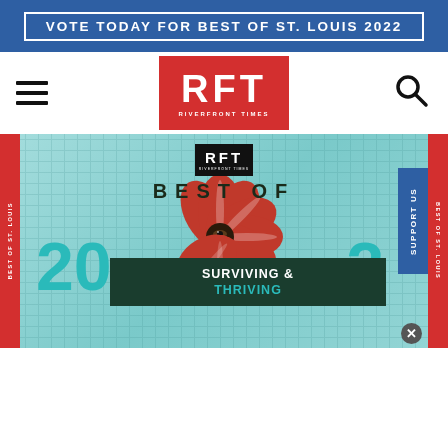VOTE TODAY FOR BEST OF ST. LOUIS 2022
[Figure (logo): RFT Riverfront Times logo — red box with white letters RFT and RIVERFRONT TIMES below]
[Figure (illustration): Best of 2022 Surviving & Thriving hero banner with RFT logo, large teal 2022 numbers, red floral illustration, and dark green Surviving & Thriving text box on teal background]